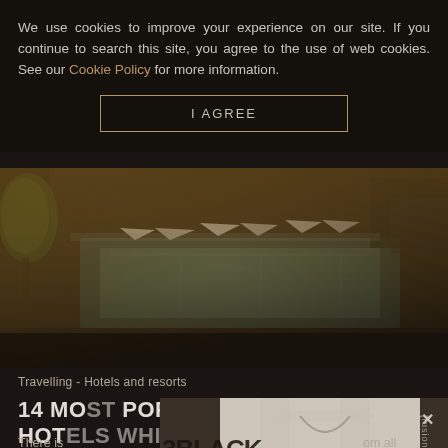We use cookies to improve your experience on our site. If you continue to search this site, you agree to the use of web cookies. See our Cookie Policy for more information.
I AGREE
[Figure (photo): Aerial/elevated view of a luxury hotel rooftop pool area with white umbrellas, pool loungers, water features and surrounding urban landscape, tilt-shift photography effect giving a miniature look.]
Travelling - Hotels and resorts
14 MOST POPULAR AND BEAUTIFUL HOTELS WHICH YOU'LL
There is om all over the el...
[Figure (photo): Advertisement overlay showing a modern black billiards/pool table with bench seating in a luxury interior setting, with 'BLACK' logo and 'fusiontables' branding with a close X button.]